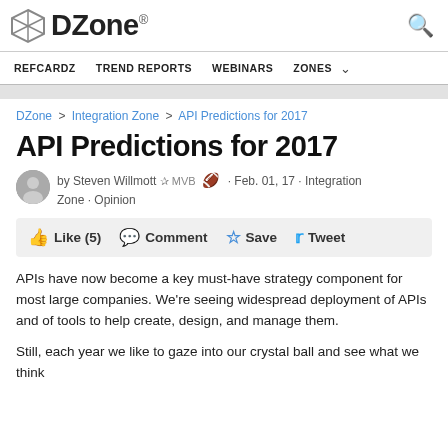DZone.
REFCARDZ  TREND REPORTS  WEBINARS  ZONES
DZone > Integration Zone > API Predictions for 2017
API Predictions for 2017
by Steven Willmott  MVB · Feb. 01, 17 · Integration Zone · Opinion
Like (5)  Comment  Save  Tweet
APIs have now become a key must-have strategy component for most large companies. We're seeing widespread deployment of APIs and of tools to help create, design, and manage them.
Still, each year we like to gaze into our crystal ball and see what we think